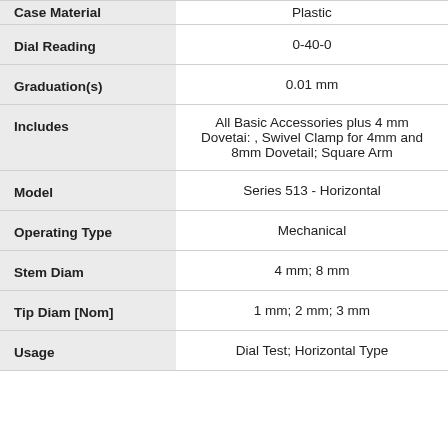| Attribute | Value |
| --- | --- |
| Case Material | Plastic |
| Dial Reading | 0-40-0 |
| Graduation(s) | 0.01 mm |
| Includes | All Basic Accessories plus 4 mm Dovetai: , Swivel Clamp for 4mm and 8mm Dovetail; Square Arm |
| Model | Series 513 - Horizontal |
| Operating Type | Mechanical |
| Stem Diam | 4 mm; 8 mm |
| Tip Diam [Nom] | 1 mm; 2 mm; 3 mm |
| Usage | Dial Test; Horizontal Type |